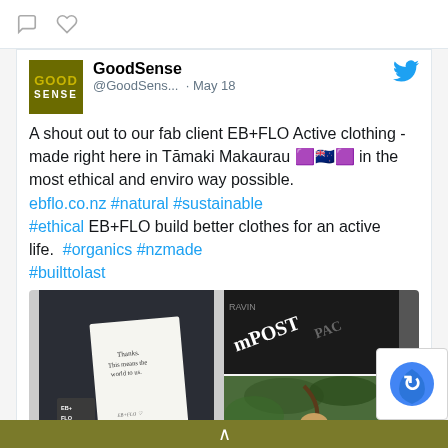[Figure (screenshot): Top bar with comment icon and heart icon on white background]
[Figure (screenshot): Twitter/social media post by GoodSense (@GoodSens...) dated May 18. Contains GoodSense logo, Twitter bird icon, tweet text, hashtags, and photo collage of EB+FLO Active clothing products.]
A shout out to our fab client EB+FLO Active clothing - made right here in Tāmaki Makaurau 🟪🇳🇿🟪 in the most ethical and enviro way possible. ebflo.co.nz #natural #sustainable #ethical EB+FLO build better clothes for an active life.  #organics #nzmade #builttolast
[Figure (photo): Collage of three photos: left shows EB+FLO clothing tag with handwritten note; top right shows dark compost packaging; bottom right shows a woman outdoors.]
^